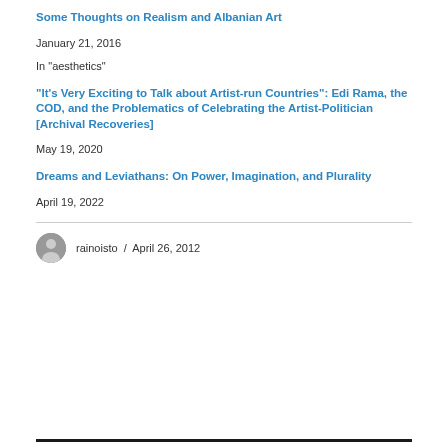Some Thoughts on Realism and Albanian Art
January 21, 2016
In "aesthetics"
“It’s Very Exciting to Talk about Artist-run Countries”: Edi Rama, the COD, and the Problematics of Celebrating the Artist-Politician [Archival Recoveries]
May 19, 2020
Dreams and Leviathans: On Power, Imagination, and Plurality
April 19, 2022
rainoisto / April 26, 2012